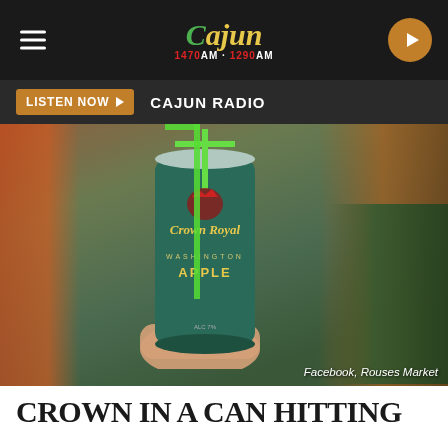Cajun Radio 1470am · 1290am
LISTEN NOW ▶  CAJUN RADIO
[Figure (photo): A hand holding a Crown Royal Washington Apple canned cocktail in a green can, with orange boxes in the background at a store. Green graphic overlays on the can. Caption: Facebook, Rouses Market]
CROWN IN A CAN HITTING